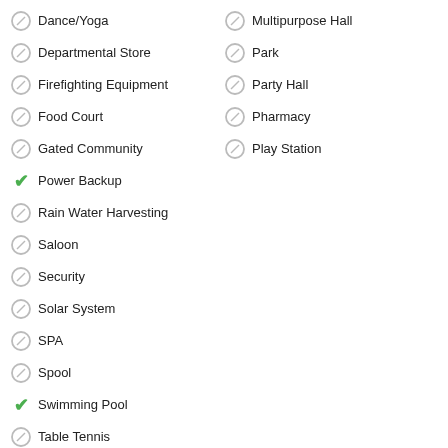Dance/Yoga
Departmental Store
Firefighting Equipment
Food Court
Gated Community
Power Backup
Rain Water Harvesting
Saloon
Security
Solar System
SPA
Spool
Swimming Pool
Table Tennis
Multipurpose Hall
Park
Party Hall
Pharmacy
Play Station